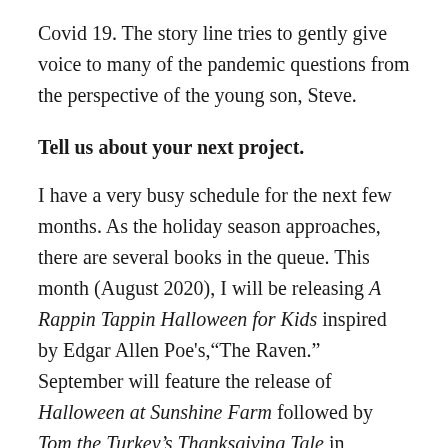Covid 19. The story line tries to gently give voice to many of the pandemic questions from the perspective of the young son, Steve.
Tell us about your next project.
I have a very busy schedule for the next few months. As the holiday season approaches, there are several books in the queue. This month (August 2020), I will be releasing A Rappin Tappin Halloween for Kids inspired by Edgar Allen Poe's,"The Raven." September will feature the release of Halloween at Sunshine Farm followed by Tom the Turkey's Thanksgiving Tale in October. November will